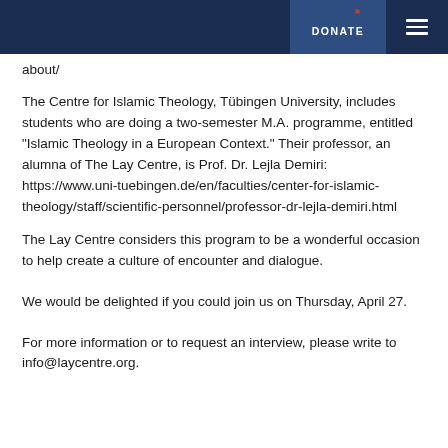DONATE
about/
The Centre for Islamic Theology, Tübingen University, includes students who are doing a two-semester M.A. programme, entitled “Islamic Theology in a European Context.” Their professor, an alumna of The Lay Centre, is Prof. Dr. Lejla Demiri: https://www.uni-tuebingen.de/en/faculties/center-for-islamic-theology/staff/scientific-personnel/professor-dr-lejla-demiri.html
The Lay Centre considers this program to be a wonderful occasion to help create a culture of encounter and dialogue.
We would be delighted if you could join us on Thursday, April 27.
For more information or to request an interview, please write to info@laycentre.org.